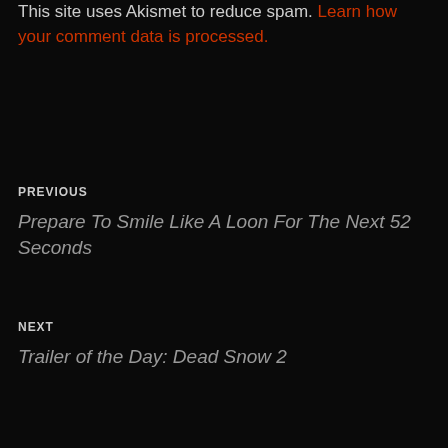This site uses Akismet to reduce spam. Learn how your comment data is processed.
PREVIOUS
Prepare To Smile Like A Loon For The Next 52 Seconds
NEXT
Trailer of the Day: Dead Snow 2